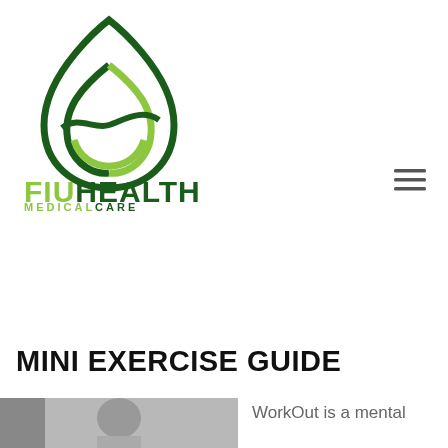[Figure (logo): FIU Health Medical Care logo: a green droplet/leaf shape above text reading FIUHEALTH MEDICALCARE]
MINI EXERCISE GUIDE
[Figure (photo): Partial photo of a person exercising, cut off at bottom of page]
WorkOut is a mental